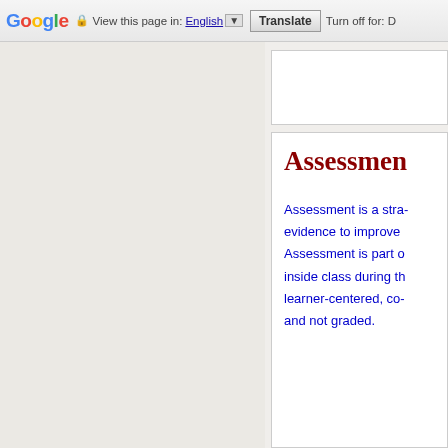[Figure (screenshot): Google Translate toolbar at top of browser page showing Google logo, lock icon, 'View this page in: English [dropdown] Translate Turn off for: D']
Assessment
Assessment is a stra- evidence to improve Assessment is part of inside class during th learner-centered, co- and not graded.